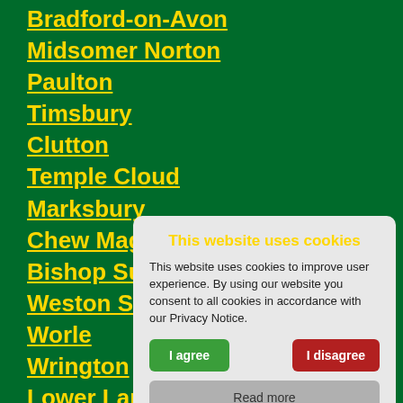Bradford-on-Avon
Midsomer Norton
Paulton
Timsbury
Clutton
Temple Cloud
Marksbury
Chew Magna
Bishop Sutton
Weston Super
Worle
Wrington
Lower Langfo
Butcombe
Blagdon
This website uses cookies

This website uses cookies to improve user experience. By using our website you consent to all cookies in accordance with our Privacy Notice.

I agree | I disagree | Read more